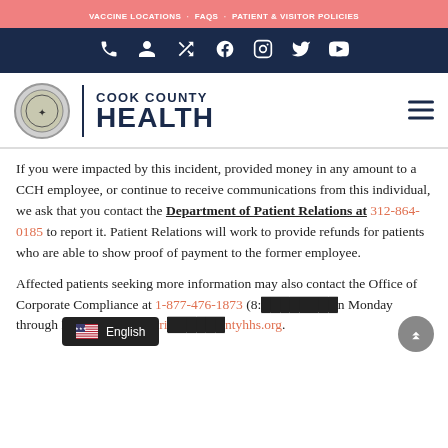VACCINE LOCATIONS · FAQS · PATIENT & VISITOR POLICIES
[Figure (screenshot): Dark navy navigation bar with social/utility icons: phone, person, shuffle/share, Facebook, Instagram, Twitter, YouTube]
[Figure (logo): Cook County Health logo with seal circle, vertical divider, and text COOK COUNTY HEALTH in navy blue]
If you were impacted by this incident, provided money in any amount to a CCH employee, or continue to receive communications from this individual, we ask that you contact the Department of Patient Relations at 312-864-0185 to report it. Patient Relations will work to provide refunds for patients who are able to show proof of payment to the former employee.
Affected patients seeking more information may also contact the Office of Corporate Compliance at 1-877-476-1873 (8:... Monday through Friday) or email pri...ntyhhs.org.